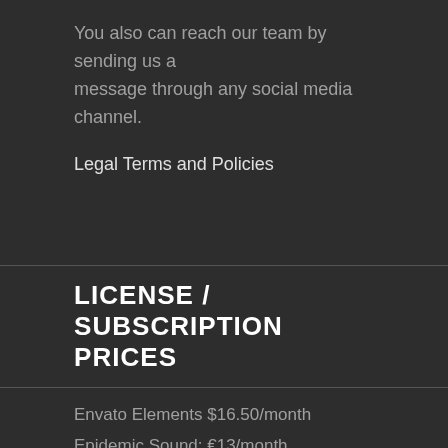You also can reach our team by sending us a message through any social media channel.
Legal Terms and Policies
LICENSE / SUBSCRIPTION PRICES
Envato Elements $16.50/month
Epidemic Sound: €13/month
Artlist: $299/year
Audiojungle: €19/song
Audiio: $299 lifetime
[Figure (other): Payment method icons: Visa, Mastercard, PayPal (two variants)]